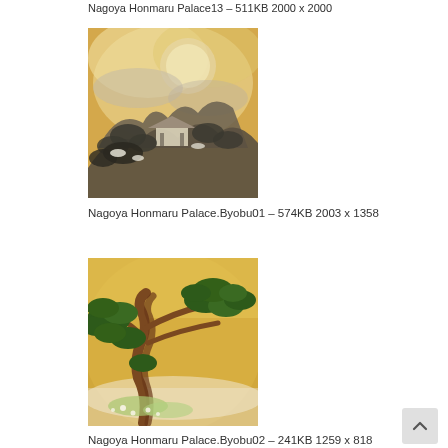Nagoya Honmaru Palace13 – 511KB 2000 x 2000
[Figure (illustration): Japanese byobu folding screen painting depicting misty mountains, clouds, a pavilion/gazebo structure, and pine trees in ink wash and gold style]
Nagoya Honmaru Palace.Byobu01 – 574KB 2003 x 1358
[Figure (illustration): Japanese byobu folding screen painting of a large green pine tree with twisted brown trunk on a gold background with white flowers and mist]
Nagoya Honmaru Palace.Byobu02 – 241KB 1259 x 818